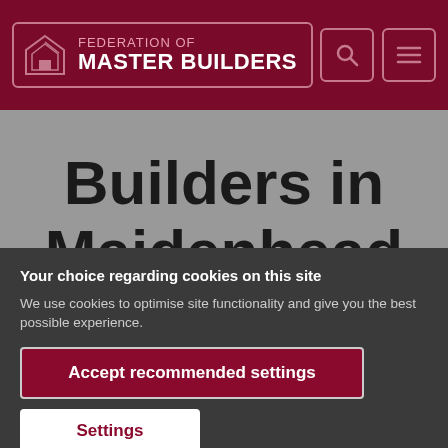[Figure (logo): Federation of Master Builders logo with house icon in dark red/maroon header bar, alongside search and menu icons]
Builders in Maidenhead
Your choice regarding cookies on this site
We use cookies to optimise site functionality and give you the best possible experience.
Accept recommended settings
Settings